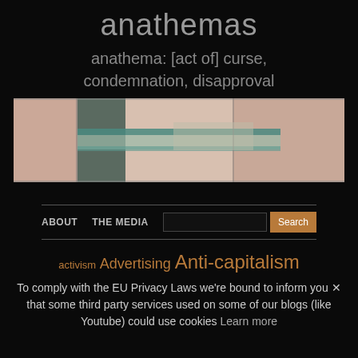anathemas
anathema: [act of] curse, condemnation, disapproval
[Figure (photo): Horizontal banner photo showing a stone or concrete wall/pillar with a metal horizontal bar or beam, muted pinkish-beige and teal tones]
About  The Media  Search
activism  Advertising  Anti-capitalism
To comply with the EU Privacy Laws we're bound to inform you that some third party services used on some of our blogs (like Youtube) could use cookies  Learn more  ✕